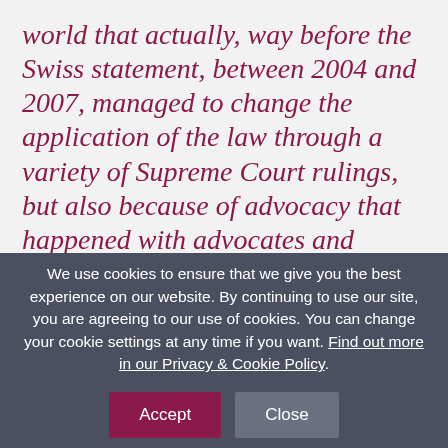world that actually, way before the Swiss statement, between 2004 and 2007, managed to change the application of the law through a variety of Supreme Court rulings, but also because of advocacy that happened with advocates and healthcare workers and people in the community who limited the role of the criminal law to only intentional exposure or
We use cookies to ensure that we give you the best experience on our website. By continuing to use our site, you are agreeing to our use of cookies. You can change your cookie settings at any time if you want. Find out more in our Privacy & Cookie Policy.